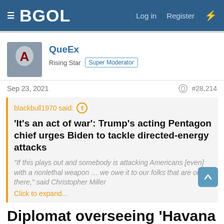BGOL | Log in | Register
QueEx
Rising Star  Super Moderator
Sep 23, 2021  #28,214
blackbull1970 said:
'It's an act of war': Trump's acting Pentagon chief urges Biden to tackle directed-energy attacks
"If this plays out and somebody is attacking Americans [even] with a nonlethal weapon … we owe it to our folks that are out there," said Christopher Miller
Click to expand...
Diplomat overseeing 'Havana